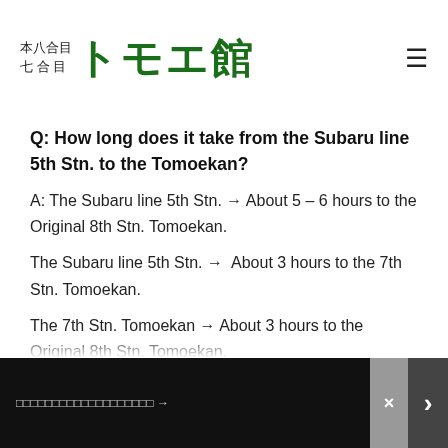本八合目 七合目 トモエ館
Q: How long does it take from the Subaru line 5th Stn. to the Tomoekan?
A: The Subaru line 5th Stn. → About 5 – 6 hours to the Original 8th Stn. Tomoekan.
The Subaru line 5th Stn. →  About 3 hours to the 7th Stn. Tomoekan.
The 7th Stn. Tomoekan → About 3 hours to the Original 8th Stn. Tomoekan.
If you reserve a room at the Original 8th Stn. Tomoekan and departing from the Subaru line 5th Stn., please depart from the
□□□□□□□□□□□□□□□□□□□ →